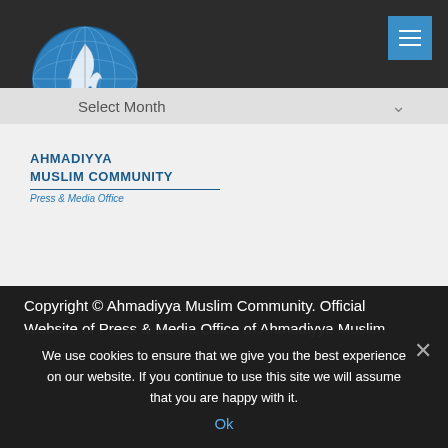[Figure (logo): Ahmadiyya Muslim Community logo – globe with feather motif in teal/blue circle]
Select Month
AHMADIYYA MUSLIM COMMUNITY
Press & Media Office
Copyright © Ahmadiyya Muslim Community. Official Website of Press & Media Office of Ahmadiyya Muslim
We use cookies to ensure that we give you the best experience on our website. If you continue to use this site we will assume that you are happy with it.
Ok